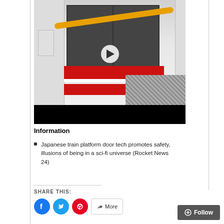[Figure (photo): Video thumbnail showing a Japanese train at a platform with yellow safety bar, red-striped train car, and platform doors. A white play button is overlaid in the center.]
Information
Japanese train platform door tech promotes safety, illusions of being in a sci-fi universe (Rocket News 24)
SHARE THIS:
[Figure (infographic): Share buttons row: Facebook (blue circle), Twitter (blue circle), Pinterest (red circle), and More button with share icon.]